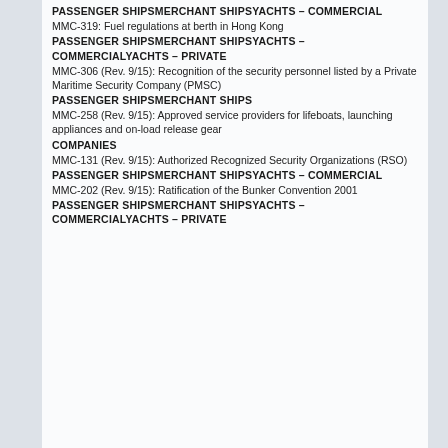PASSENGER SHIPSMERCHANT SHIPSYACHTS – COMMERCIAL
MMC-319: Fuel regulations at berth in Hong Kong
PASSENGER SHIPSMERCHANT SHIPSYACHTS – COMMERCIALYACHTS – PRIVATE
MMC-306 (Rev. 9/15): Recognition of the security personnel listed by a Private Maritime Security Company (PMSC)
PASSENGER SHIPSMERCHANT SHIPS
MMC-258 (Rev. 9/15): Approved service providers for lifeboats, launching appliances and on-load release gear
COMPANIES
MMC-131 (Rev. 9/15): Authorized Recognized Security Organizations (RSO)
PASSENGER SHIPSMERCHANT SHIPSYACHTS – COMMERCIAL
MMC-202 (Rev. 9/15): Ratification of the Bunker Convention 2001
PASSENGER SHIPSMERCHANT SHIPSYACHTS – COMMERCIALYACHTS – PRIVATE